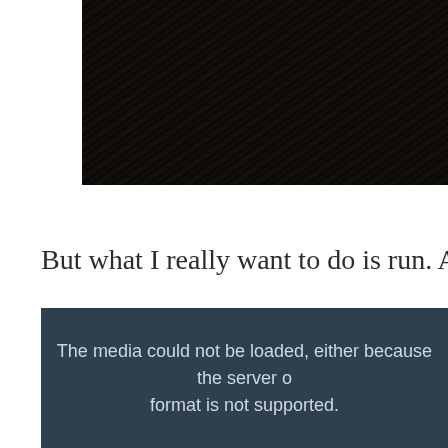[Figure (photo): Dark background photo showing dried grass or straw, very dark almost black image]
But what I really want to do is run. And dance. And run and run
[Figure (other): Media error box with dark blue-grey background showing: The media could not be loaded, either because the server o format is not supported.]